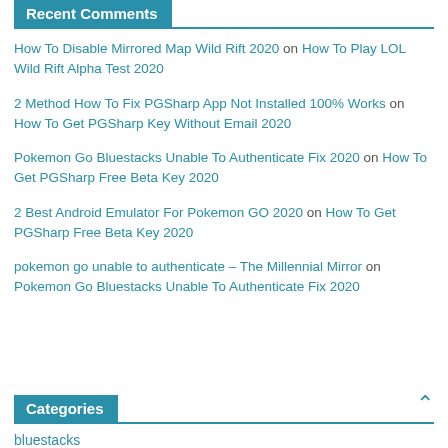Recent Comments
How To Disable Mirrored Map Wild Rift 2020 on How To Play LOL Wild Rift Alpha Test 2020
2 Method How To Fix PGSharp App Not Installed 100% Works on How To Get PGSharp Key Without Email 2020
Pokemon Go Bluestacks Unable To Authenticate Fix 2020 on How To Get PGSharp Free Beta Key 2020
2 Best Android Emulator For Pokemon GO 2020 on How To Get PGSharp Free Beta Key 2020
pokemon go unable to authenticate – The Millennial Mirror on Pokemon Go Bluestacks Unable To Authenticate Fix 2020
Categories
bluestacks